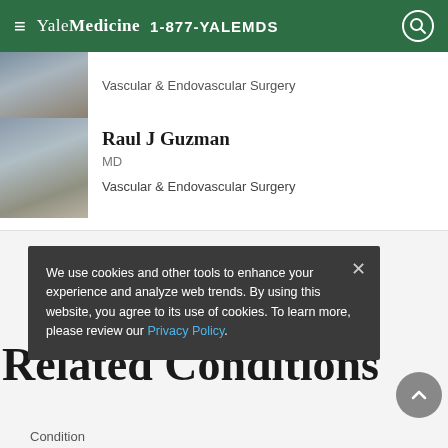Yale Medicine 1-877-YALEMDS
Vascular & Endovascular Surgery
Raul J Guzman
MD
Vascular & Endovascular Surgery
More Related Specialists
We use cookies and other tools to enhance your experience and analyze web trends. By using this website, you agree to its use of cookies. To learn more, please review our Privacy Policy.
Related Conditions
Condition